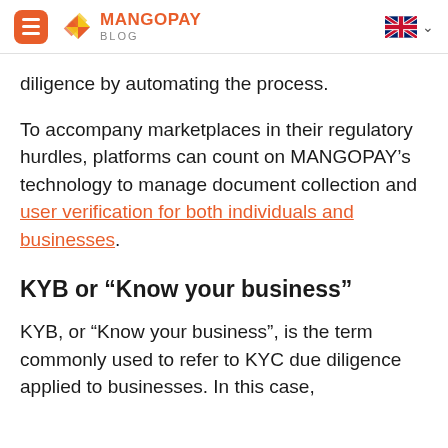MANGOPAY BLOG
diligence by automating the process.
To accompany marketplaces in their regulatory hurdles, platforms can count on MANGOPAY’s technology to manage document collection and user verification for both individuals and businesses.
KYB or “Know your business”
KYB, or “Know your business”, is the term commonly used to refer to KYC due diligence applied to businesses. In this case,